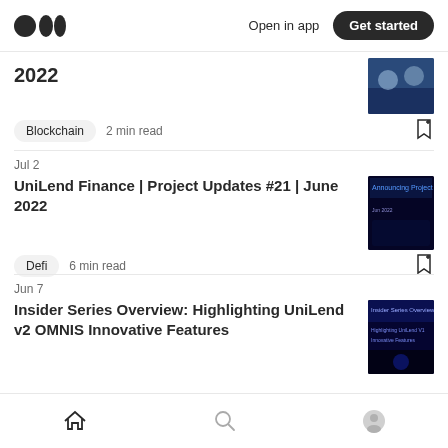Medium — Open in app | Get started
2022
Blockchain  2 min read
Jul 2
UniLend Finance | Project Updates #21 | June 2022
Defi  6 min read
Jun 7
Insider Series Overview: Highlighting UniLend v2 OMNIS Innovative Features
Home | Search | Profile